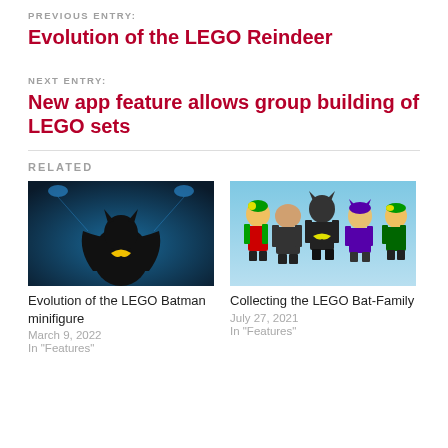PREVIOUS ENTRY:
Evolution of the LEGO Reindeer
NEXT ENTRY:
New app feature allows group building of LEGO sets
RELATED
[Figure (photo): LEGO Batman minifigure in dark cinematic setting with blue lights]
Evolution of the LEGO Batman minifigure
March 9, 2022
In "Features"
[Figure (photo): Group of LEGO Batman family minifigures including Robin and Batgirl on blue background]
Collecting the LEGO Bat-Family
July 27, 2021
In "Features"